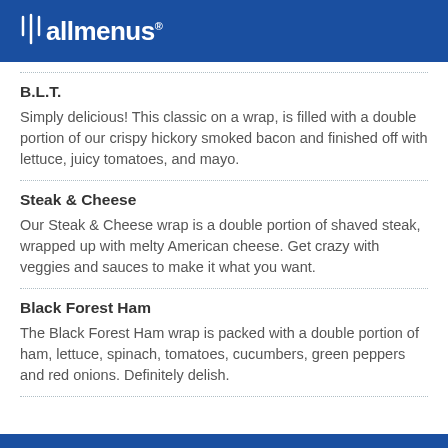allmenus
B.L.T.
Simply delicious! This classic on a wrap, is filled with a double portion of our crispy hickory smoked bacon and finished off with lettuce, juicy tomatoes, and mayo.
Steak & Cheese
Our Steak & Cheese wrap is a double portion of shaved steak, wrapped up with melty American cheese. Get crazy with veggies and sauces to make it what you want.
Black Forest Ham
The Black Forest Ham wrap is packed with a double portion of ham, lettuce, spinach, tomatoes, cucumbers, green peppers and red onions. Definitely delish.